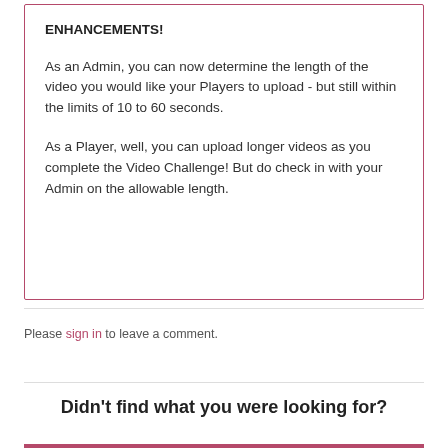ENHANCEMENTS!
As an Admin, you can now determine the length of the video you would like your Players to upload - but still within the limits of 10 to 60 seconds.
As a Player, well, you can upload longer videos as you complete the Video Challenge! But do check in with your Admin on the allowable length.
Please sign in to leave a comment.
Didn't find what you were looking for?